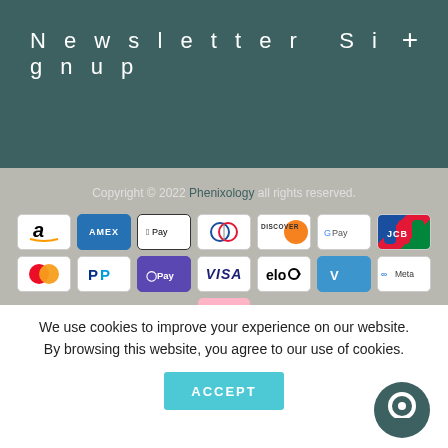Newsletter Signup
Copyright © 2022 Phenixology all rights reserved.
[Figure (infographic): Payment method icons: Amazon, Amex, Apple Pay, Diners Club, Discover, Google Pay, JCB, Mastercard, PayPal, OPay, Visa, Elo, Venmo, Meta Pay, Klarna]
We use cookies to improve your experience on our website. By browsing this website, you agree to our use of cookies.